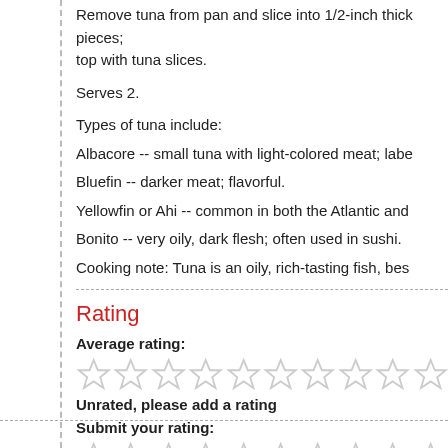Remove tuna from pan and slice into 1/2-inch thick pieces; top with tuna slices.
Serves 2.
Types of tuna include:
Albacore -- small tuna with light-colored meat; labe...
Bluefin -- darker meat; flavorful.
Yellowfin or Ahi -- common in both the Atlantic and...
Bonito -- very oily, dark flesh; often used in sushi.
Cooking note: Tuna is an oily, rich-tasting fish, bes...
Rating
Average rating:
[Figure (other): Ten empty star rating icons (unrated average rating)]
Unrated, please add a rating
Submit your rating:
[Figure (other): Ten empty star rating icons (submit your rating)]
Click a star to rate this recipe.